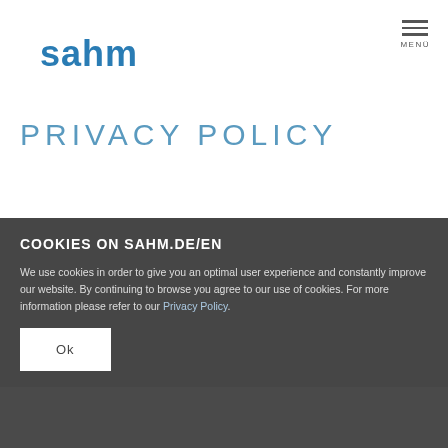sahm
PRIVACY POLICY
COOKIES ON SAHM.DE/EN
We use cookies in order to give you an optimal user experience and constantly improve our website. By continuing to browse you agree to our use of cookies. For more information please refer to our Privacy Policy.
Ok